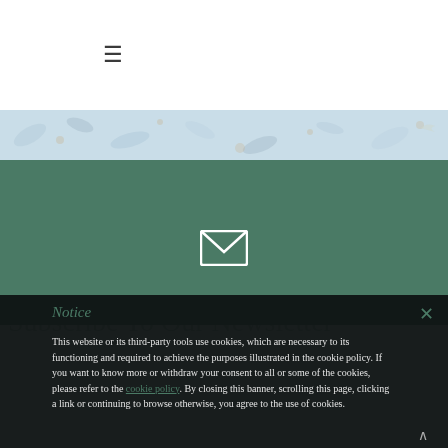≡ (hamburger menu icon)
[Figure (illustration): Light blue floral patterned banner strip]
[Figure (illustration): Dark green background section with white envelope/mail icon in center]
Subscribe To Our Newsletter
Notice
This website or its third-party tools use cookies, which are necessary to its functioning and required to achieve the purposes illustrated in the cookie policy. If you want to know more or withdraw your consent to all or some of the cookies, please refer to the cookie policy. By closing this banner, scrolling this page, clicking a link or continuing to browse otherwise, you agree to the use of cookies.